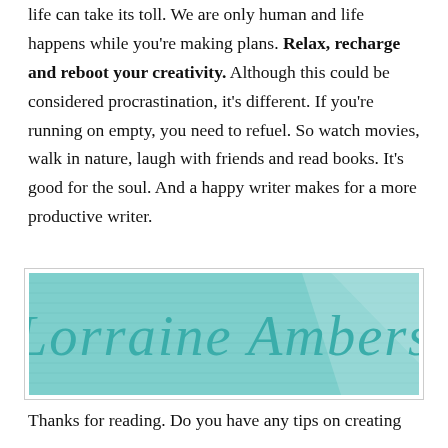life can take its toll. We are only human and life happens while you're making plans. Relax, recharge and reboot your creativity. Although this could be considered procrastination, it's different. If you're running on empty, you need to refuel. So watch movies, walk in nature, laugh with friends and read books. It's good for the soul. And a happy writer makes for a more productive writer.
[Figure (illustration): A teal/turquoise banner image with the cursive signature text 'Lorraine Ambers' overlaid on a background with subtle horizontal lines and a light ray effect.]
Thanks for reading. Do you have any tips on creating